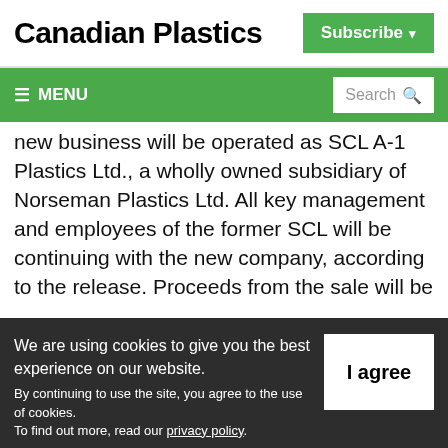Canadian Plastics
Subscribe
≡ MENU | Search
new business will be operated as SCL A-1 Plastics Ltd., a wholly owned subsidiary of Norseman Plastics Ltd. All key management and employees of the former SCL will be continuing with the new company, according to the release. Proceeds from the sale will be
We are using cookies to give you the best experience on our website.
By continuing to use the site, you agree to the use of cookies.
To find out more, read our privacy policy.
I agree